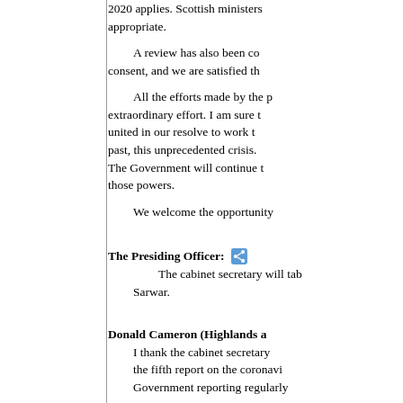2020 applies. Scottish ministers appropriate.
A review has also been co consent, and we are satisfied th
All the efforts made by the p extraordinary effort. I am sure t united in our resolve to work t past, this unprecedented crisis. The Government will continue t those powers.
We welcome the opportunity
The Presiding Officer: The cabinet secretary will tab Sarwar.
Donald Cameron (Highlands a I thank the cabinet secretary the fifth report on the coronavi Government reporting regularly
As convener of the COVID-1 committee. They are appreciate.
Continuing it is clear how t